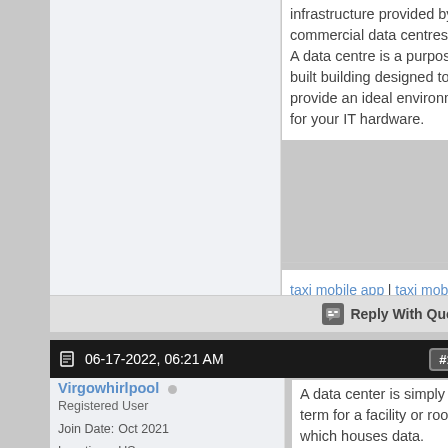infrastructure provided by commercial data centres. A data centre is a purpose-built building designed to provide an ideal environment for your IT hardware.
taxi mobile app | taxi mobile app development
Reply With Quote
06-17-2022, 06:21 AM  #13
Virgowhirlpool
Registered User
| Join Date: | Oct 2021 |
| Location: | US |
| Posts: | 19 |
A data center is simply a term for a facility or room which houses data. Commonly just a place where